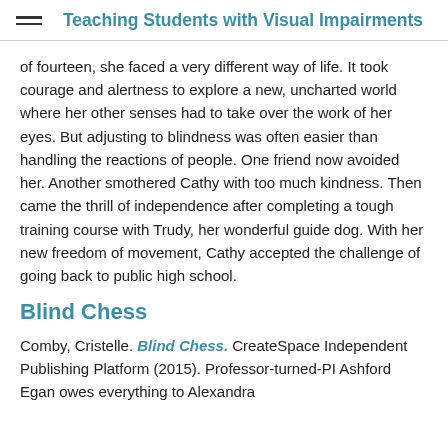Teaching Students with Visual Impairments
of fourteen, she faced a very different way of life. It took courage and alertness to explore a new, uncharted world where her other senses had to take over the work of her eyes. But adjusting to blindness was often easier than handling the reactions of people. One friend now avoided her. Another smothered Cathy with too much kindness. Then came the thrill of independence after completing a tough training course with Trudy, her wonderful guide dog. With her new freedom of movement, Cathy accepted the challenge of going back to public high school.
Blind Chess
Comby, Cristelle. Blind Chess. CreateSpace Independent Publishing Platform (2015). Professor-turned-PI Ashford Egan owes everything to Alexandra